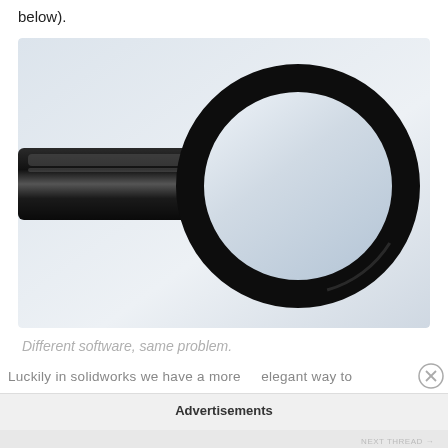below).
[Figure (illustration): A 3D rendered magnifying glass shown horizontally, with a thick dark cylindrical handle on the left and a large circular lens ring on the right against a light grey gradient background.]
Different software, same problem.
Luckily in solidworks we have a more elegant way to
Advertisements